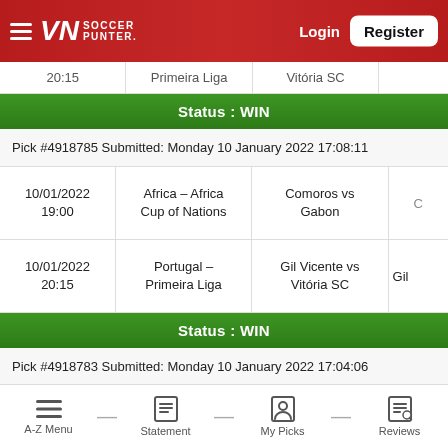Soccer Punter - Login - Register
20:15 | Primeira Liga | Vitória SC
Status : WIN
Pick #4918785 Submitted: Monday 10 January 2022 17:08:11
| Date/Time | League | Match | Pick |
| --- | --- | --- | --- |
| 10/01/2022
19:00 | Africa - Africa Cup of Nations | Comoros vs Gabon |  |
| 10/01/2022
20:15 | Portugal - Primeira Liga | Gil Vicente vs Vitória SC | Gil |
Status : WIN
Pick #4918783 Submitted: Monday 10 January 2022 17:04:06
10/01/2022 | Portugal | Gil Vicente vs
A-Z Menu — Statement — My Picks — Reviews